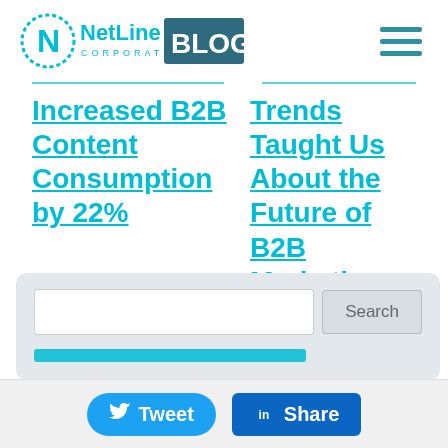NetLine Corporation BLOG
Increased B2B Content Consumption by 22%
Trends Taught Us About the Future of B2B Marketing →
[Figure (screenshot): Search bar with text input field and Search button]
Tweet   Share